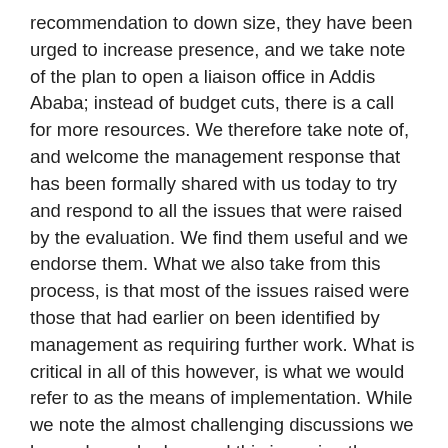recommendation to down size, they have been urged to increase presence, and we take note of the plan to open a liaison office in Addis Ababa; instead of budget cuts, there is a call for more resources. We therefore take note of, and welcome the management response that has been formally shared with us today to try and respond to all the issues that were raised by the evaluation. We find them useful and we endorse them. What we also take from this process, is that most of the issues raised were those that had earlier on been identified by management as requiring further work. What is critical in all of this however, is what we would refer to as the means of implementation. While we note the almost challenging discussions we have always had around this issue in other multilateral for a, our sense is that it should not be the case in this instance.
We are in full agreement, with both the evaluation and the management report that in order to implement all the recommendations in letter and spirit, and deliver on the